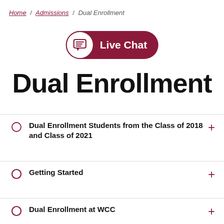Home / Admissions / Dual Enrollment
[Figure (other): Live Chat button with chat bubble icon in maroon circle and 'Live Chat' text on maroon pill-shaped button]
Dual Enrollment
Dual Enrollment Students from the Class of 2018 and Class of 2021
Getting Started
Dual Enrollment at WCC